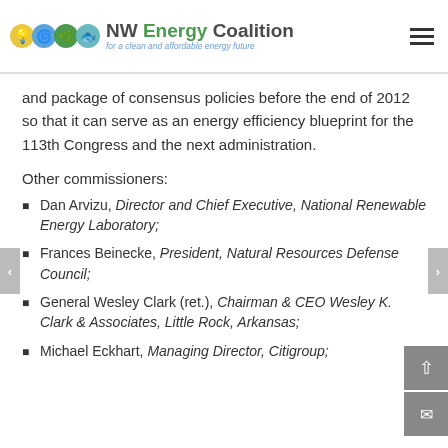[Figure (logo): NW Energy Coalition logo with colored icons (lightbulb, wind turbine, fish, water drop) and tagline 'for a clean and affordable energy future']
and package of consensus policies before the end of 2012 so that it can serve as an energy efficiency blueprint for the 113th Congress and the next administration.
Other commissioners:
Dan Arvizu, Director and Chief Executive, National Renewable Energy Laboratory;
Frances Beinecke, President, Natural Resources Defense Council;
General Wesley Clark (ret.), Chairman & CEO Wesley K. Clark & Associates, Little Rock, Arkansas;
Michael Eckhart, Managing Director, Citigroup;